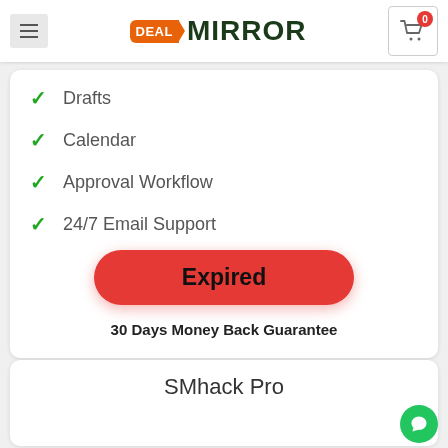Deal Mirror — navigation header with hamburger menu and cart (0 items)
Drafts
Calendar
Approval Workflow
24/7 Email Support
Expired
30 Days Money Back Guarantee
SMhack Pro